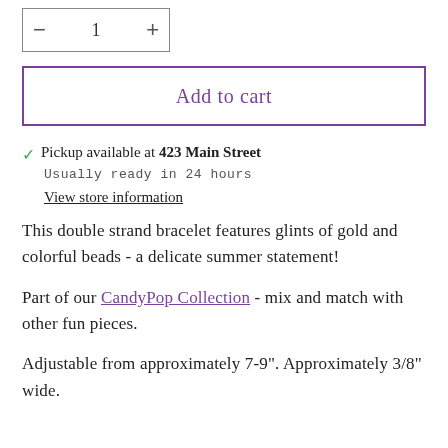[Figure (other): Quantity selector widget with minus button, number 1, and plus button inside a bordered box]
[Figure (other): Add to cart button with purple border and purple text]
✓ Pickup available at 423 Main Street
Usually ready in 24 hours
View store information
This double strand bracelet features glints of gold and colorful beads - a delicate summer statement!
Part of our CandyPop Collection - mix and match with other fun pieces.
Adjustable from approximately 7-9". Approximately 3/8" wide.